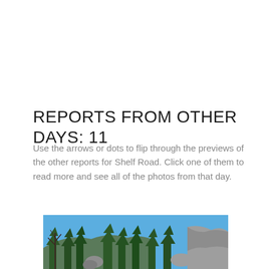REPORTS FROM OTHER DAYS: 11
Use the arrows or dots to flip through the previews of the other reports for Shelf Road. Click one of them to read more and see all of the photos from that day.
[Figure (photo): Outdoor nature photo showing pine trees and rocky terrain against a bright blue sky, appears to be at Shelf Road. Photo is partially cropped at the bottom of the page.]